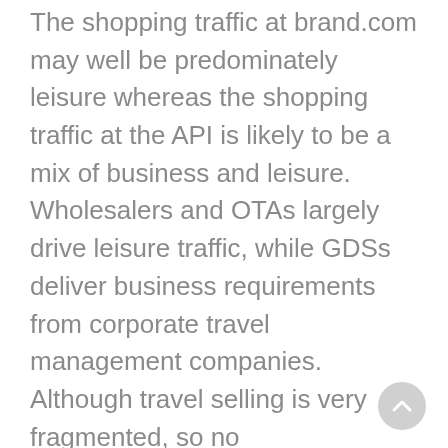The shopping traffic at brand.com may well be predominately leisure whereas the shopping traffic at the API is likely to be a mix of business and leisure. Wholesalers and OTAs largely drive leisure traffic, while GDSs deliver business requirements from corporate travel management companies. Although travel selling is very fragmented, so no categorisations can be set in stone. Success in the leisure market for the hotel will be largely driven around price. That is not necessarily the case for the business market where convenience, services and efficiency can command a premium.
This is B2B shopping now where virtually all of